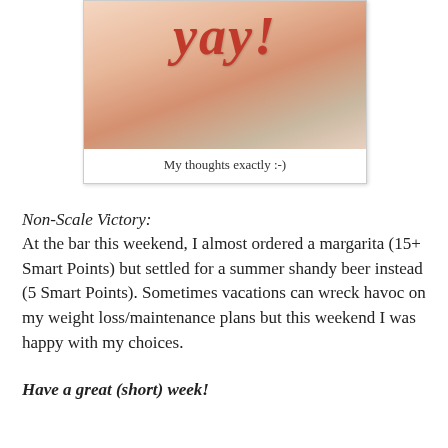[Figure (photo): Cropped image showing 'Yay!' text in red italic script over a blurred background of hands, inside a white bordered box.]
My thoughts exactly :-)
Non-Scale Victory:
At the bar this weekend, I almost ordered a margarita (15+ Smart Points) but settled for a summer shandy beer instead (5 Smart Points). Sometimes vacations can wreck havoc on my weight loss/maintenance plans but this weekend I was happy with my choices.
Have a great (short) week!